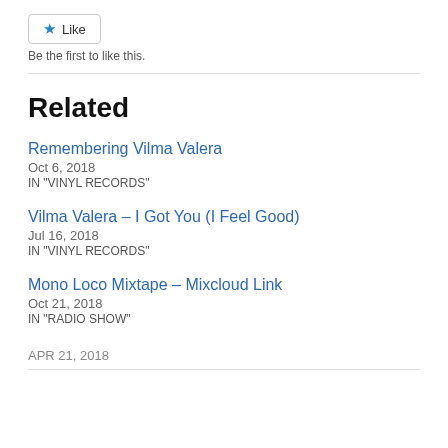Like
Be the first to like this.
Related
Remembering Vilma Valera
Oct 6, 2018
IN "VINYL RECORDS"
Vilma Valera – I Got You (I Feel Good)
Jul 16, 2018
IN "VINYL RECORDS"
Mono Loco Mixtape – Mixcloud Link
Oct 21, 2018
IN "RADIO SHOW"
APR 21, 2018